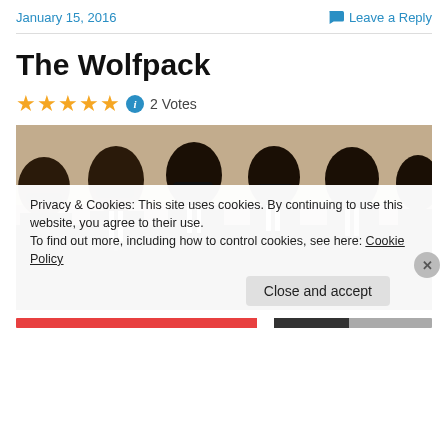January 15, 2016    Leave a Reply
The Wolfpack
★★★★★ ℹ 2 Votes
[Figure (photo): Group of young men in black suits and sunglasses standing in a row against a beige wall]
Privacy & Cookies: This site uses cookies. By continuing to use this website, you agree to their use.
To find out more, including how to control cookies, see here: Cookie Policy
Close and accept